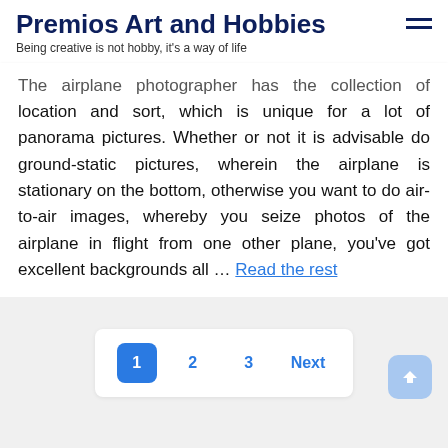Premios Art and Hobbies
Being creative is not hobby, it's a way of life
The airplane photographer has the collection of location and sort, which is unique for a lot of panorama pictures. Whether or not it is advisable do ground-static pictures, wherein the airplane is stationary on the bottom, otherwise you want to do air-to-air images, whereby you seize photos of the airplane in flight from one other plane, you've got excellent backgrounds all … Read the rest